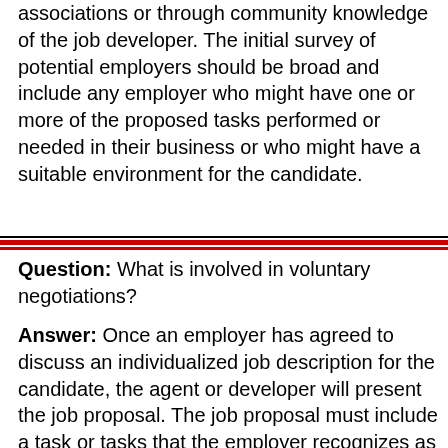associations or through community knowledge of the job developer. The initial survey of potential employers should be broad and include any employer who might have one or more of the proposed tasks performed or needed in their business or who might have a suitable environment for the candidate.
Question: What is involved in voluntary negotiations?
Answer: Once an employer has agreed to discuss an individualized job description for the candidate, the agent or developer will present the job proposal. The job proposal must include a task or tasks that the employer recognizes as adding value to his or her business. The employer may accept the proposal, discuss modifications to it, or reject it. If the original proposal is not accepted, a discussion with the employer may result in a different job description that is satisfactory to both the employer and the candidate. If...